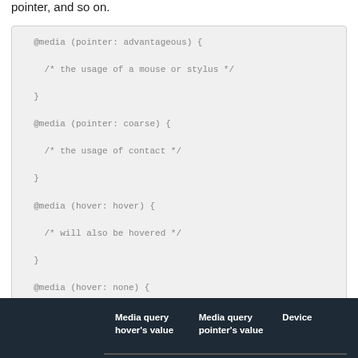pointer, and so on.
@media (pointer: advantageous) {
  /* the usage of a mouse or stylus */
}
@media (pointer: coarse) {
  /* the usage of contact */
}
@media (hover: hover) {
  /* will also be hovered */
}
@media (hover: none) {
  /* cannot be hovered */
}
| Media query hover's value | Media query pointer's value | Device |
| --- | --- | --- |